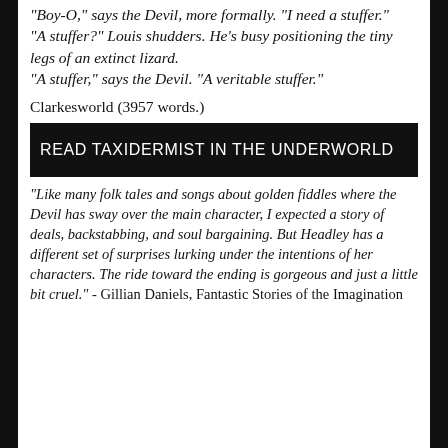"Boy-O," says the Devil, more formally. "I need a stuffer." "A stuffer?" Louis shudders. He's busy positioning the tiny legs of an extinct lizard. "A stuffer," says the Devil. "A veritable stuffer."
Clarkesworld (3957 words.)
READ TAXIDERMIST IN THE UNDERWORLD
"Like many folk tales and songs about golden fiddles where the Devil has sway over the main character, I expected a story of deals, backstabbing, and soul bargaining. But Headley has a different set of surprises lurking under the intentions of her characters. The ride toward the ending is gorgeous and just a little bit cruel." - Gillian Daniels, Fantastic Stories of the Imagination